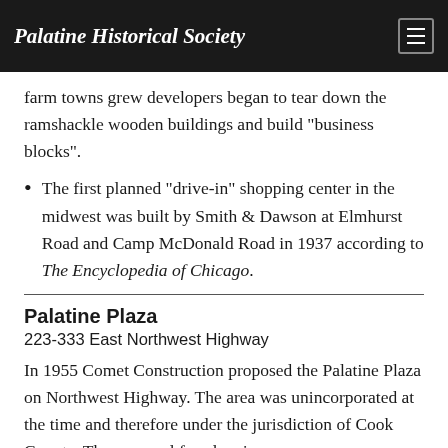Palatine Historical Society
nesses began forming the centers of tiny communities. As the farm towns grew developers began to tear down the ramshackle wooden buildings and build “business blocks”.
The first planned “drive-in” shopping center in the midwest was built by Smith & Dawson at Elmhurst Road and Camp McDonald Road in 1937 according to The Encyclopedia of Chicago.
Palatine Plaza
223-333 East Northwest Highway
In 1955 Comet Construction proposed the Palatine Plaza on Northwest Highway. The area was unincorporated at the time and therefore under the jurisdiction of Cook County. The proposal faced major